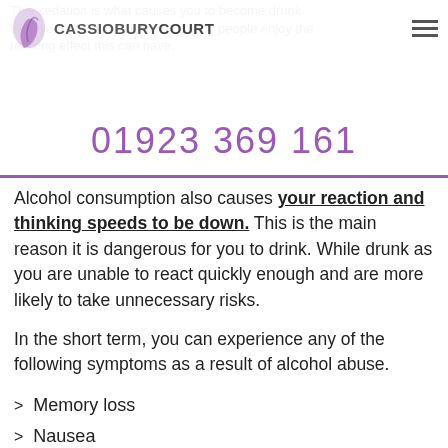CASSIOBURYCOURT
This sedation is what causes you to become drunk. With your inhibitions lowered, many people enjoy the relaxing effect this can have.
01923 369 161
Alcohol consumption also causes your reaction and thinking speeds to be down. This is the main reason it is dangerous for you to drink. While drunk as you are unable to react quickly enough and are more likely to take unnecessary risks.
In the short term, you can experience any of the following symptoms as a result of alcohol abuse.
Memory loss
Nausea
Vomiting
Loss of inhibitions
Diarrhoea